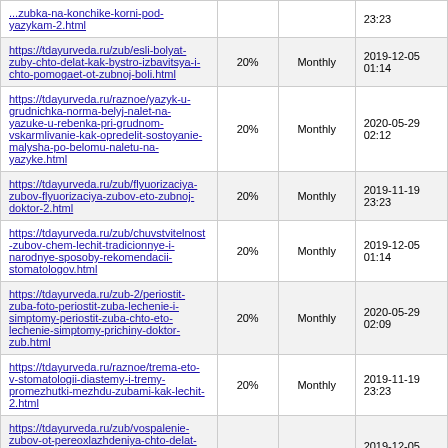| URL | Priority | Change Freq | Last Modified |
| --- | --- | --- | --- |
| https://tdayurveda.ru/zub/zubka-na-konchike-korni-pod-yazykam-2.html (partial) |  |  | ... 23:23 |
| https://tdayurveda.ru/zub/esli-bolyat-zuby-chto-delat-kak-bystro-izbavitsya-i-chto-pomogaet-ot-zubnoj-boli.html | 20% | Monthly | 2019-12-05 01:14 |
| https://tdayurveda.ru/raznoe/yazyk-u-grudnichka-norma-belyj-nalet-na-yazuke-u-rebenka-pri-grudnom-vskarmlivanie-kak-opredelit-sostoyanie-malysha-po-belomu-naletu-na-yazyke.html | 20% | Monthly | 2020-05-29 02:12 |
| https://tdayurveda.ru/zub/flyuorizaciya-zubov-flyuorizaciya-zubov-eto-zubnoj-doktor-2.html | 20% | Monthly | 2019-11-19 23:23 |
| https://tdayurveda.ru/zub/chuvstvitelnost-zubov-chem-lechit-tradicionnye-i-narodnye-sposoby-rekomendacii-stomatologov.html | 20% | Monthly | 2019-12-05 01:14 |
| https://tdayurveda.ru/zub-2/periostit-zuba-foto-periostit-zuba-lechenie-i-simptomy-periostit-zuba-chto-eto-lechenie-simptomy-prichiny-doktor-zub.html | 20% | Monthly | 2020-05-29 02:09 |
| https://tdayurveda.ru/raznoe/trema-eto-v-stomatologii-diastemy-i-tremy-promezhutki-mezhdu-zubami-kak-lechit-2.html | 20% | Monthly | 2019-11-19 23:23 |
| https://tdayurveda.ru/zub/vospalenie-zubov-ot-pereoxlazhdeniya-chto-delat-esli-eto-proizoshlo-kak-lechit-zastuzhennyj-nerv-v-domashnix-usloviyax.html | 20% | Monthly | 2019-12-05 01:13 |
| https://tdayurveda.ru/raznoe/byugelnyj-protez-eto-byugelnoe-protezirovanie-zubov-chto-eto-takoe-vidy-stoimost-doktor-zub-... | 20% | Monthly | 2020-05-29 02:09 (partial) |